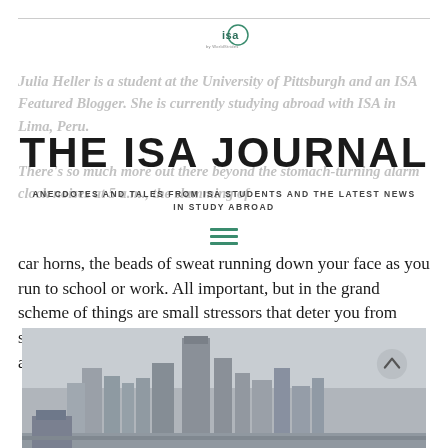[Figure (logo): ISA (International Studies Abroad) logo — circular 'isa' wordmark with tagline 'by WorldStrides']
Julia Heller is a student at the University of Pittsburgh and an ISA Featured Blogger. She is currently studying abroad with ISA in Lima, Peru.
THE ISA JOURNAL
ANECDOTES AND TALES FROM ISA STUDENTS AND THE LATEST NEWS IN STUDY ABROAD
There's so much more out there beyond the stomach-turning alarm clock noises at 5 a.m., the slamming of car horns, the beads of sweat running down your face as you run to school or work. All important, but in the grand scheme of things are small stressors that deter you from seeing the bigger picture, the one that catches your eye and allows you to appreciate it all.
[Figure (photo): Black and white photograph of a city skyline with buildings, shot from a low angle with a grey hazy sky]